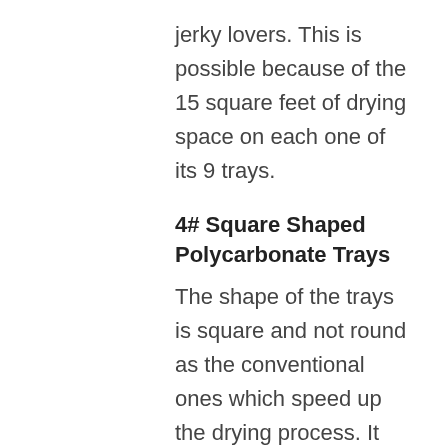jerky lovers. This is possible because of the 15 square feet of drying space on each one of its 9 trays.
4# Square Shaped Polycarbonate Trays
The shape of the trays is square and not round as the conventional ones which speed up the drying process. It also accommodates more food than the circular ones thus saving your time. The trays are made